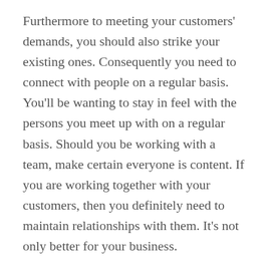Furthermore to meeting your customers' demands, you should also strike your existing ones. Consequently you need to connect with people on a regular basis. You'll be wanting to stay in feel with the persons you meet up with on a regular basis. Should you be working with a team, make certain everyone is content. If you are working together with your customers, then you definitely need to maintain relationships with them. It's not only better for your business.
Generally speaking, establishing a solid relationship is a good way in order to meet and work with people. Additionally to creating a great rapport, you should try to be open and listen to customers. The more people you can discuss to, the more likely they shall be impressed with you. This will make the relationship between you and your employees more effective and productive. If you cannot do that, you will have more time to use people.